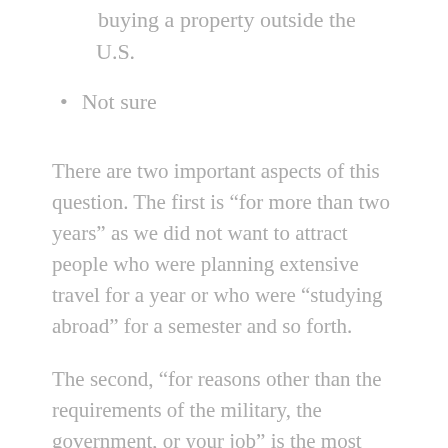buying a property outside the U.S.
Not sure
There are two important aspects of this question. The first is “for more than two years” as we did not want to attract people who were planning extensive travel for a year or who were “studying abroad” for a semester and so forth.
The second, “for reasons other than the requirements of the military, the government, or your job” is the most critical and the most frequently forgotten by many people reading our survey results. We did this purposely as we